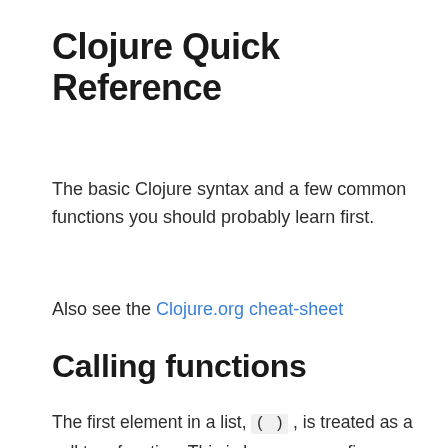Clojure Quick Reference
The basic Clojure syntax and a few common functions you should probably learn first.
Also see the Clojure.org cheat-sheet
Calling functions
The first element in a list, (), is treated as a call to a function. This is known as prefix notation which greatly simplifies Clojure syntax and makes mathematical expressions completely deterministic, eliminating the need